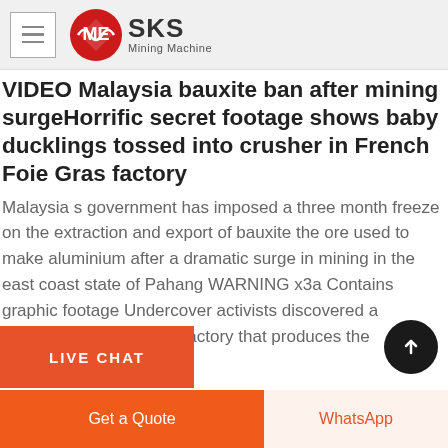SKS Mining Machine
VIDEO Malaysia bauxite ban after mining surgeHorrific secret footage shows baby ducklings tossed into crusher in French Foie Gras factory
Malaysia s government has imposed a three month freeze on the extraction and export of bauxite the ore used to make aluminium after a dramatic surge in mining in the east coast state of Pahang WARNING x3a Contains graphic footage Undercover activists discovered a catalogue of abuse in a factory that produces the controversial delicacy
LIVE CHAT
Get a Quote
WhatsApp